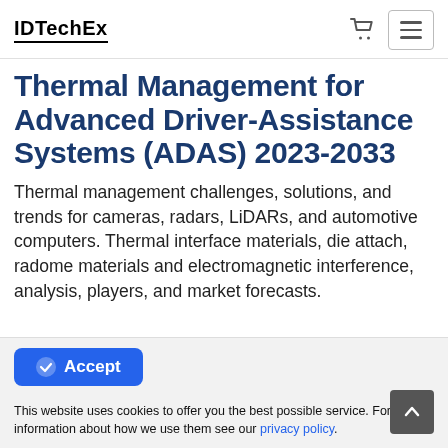IDTechEx
Thermal Management for Advanced Driver-Assistance Systems (ADAS) 2023-2033
Thermal management challenges, solutions, and trends for cameras, radars, LiDARs, and automotive computers. Thermal interface materials, die attach, radome materials and electromagnetic interference, analysis, players, and market forecasts.
Accept
This website uses cookies to offer you the best possible service. For more information about how we use them see our privacy policy.